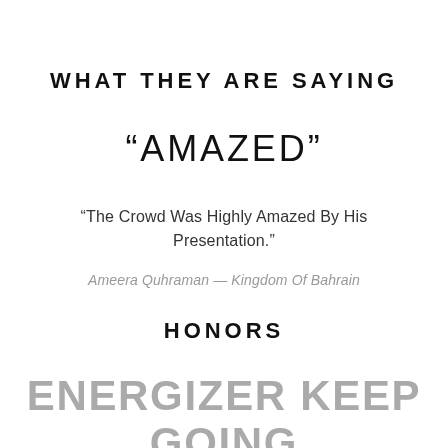WHAT THEY ARE SAYING
“AMAZED”
“The Crowd Was Highly Amazed By His Presentation.”
Ameera Quhraman — Kingdom Of Bahrain
HONORS
ENERGIZER KEEP GOING HALL OF FAME